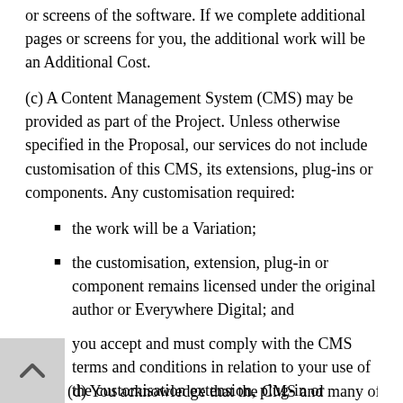or screens of the software. If we complete additional pages or screens for you, the additional work will be an Additional Cost.
(c) A Content Management System (CMS) may be provided as part of the Project. Unless otherwise specified in the Proposal, our services do not include customisation of this CMS, its extensions, plug-ins or components. Any customisation required:
the work will be a Variation;
the customisation, extension, plug-in or component remains licensed under the original author or Everywhere Digital; and
you accept and must comply with the CMS terms and conditions in relation to your use of the customisation extension, plug-in or component.
(d) You acknowledge that the CMS and many of its